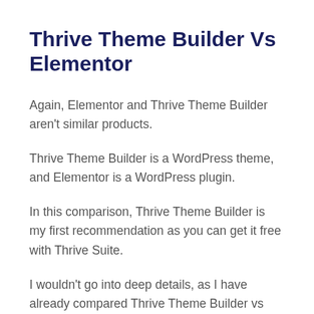Thrive Theme Builder Vs Elementor
Again, Elementor and Thrive Theme Builder aren't similar products.
Thrive Theme Builder is a WordPress theme, and Elementor is a WordPress plugin.
In this comparison, Thrive Theme Builder is my first recommendation as you can get it free with Thrive Suite.
I wouldn't go into deep details, as I have already compared Thrive Theme Builder vs Elementor in a separate article.